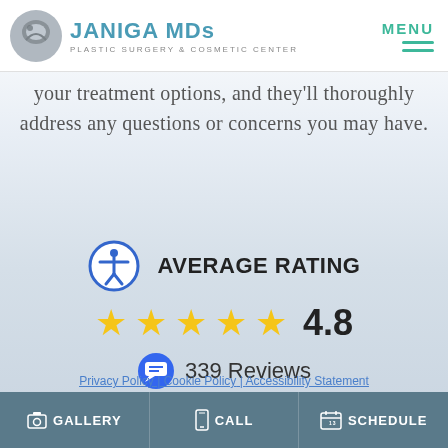JANIGA MDs PLASTIC SURGERY & COSMETIC CENTER | MENU
your treatment options, and they'll thoroughly address any questions or concerns you may have.
AVERAGE RATING
[Figure (infographic): 5 gold stars with rating 4.8, accessibility icon, 339 Reviews with chat bubble icon, Read Patient Reviews link]
Privacy Policy | Cookie Policy | Accessibility Statement
GALLERY | CALL | SCHEDULE